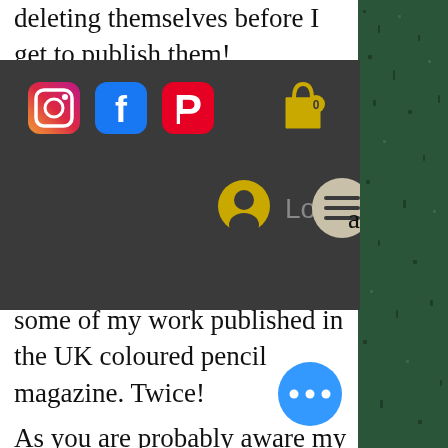deleting themselves before I get to publish them!
[Figure (screenshot): Website navigation bar with dark background showing Instagram, Facebook, Pinterest social icons on left; shopping cart icon and user/login/hamburger menu on right]
some of my work published in the UK coloured pencil magazine. Twice!
As you are probably aware my drawing won the '10 items or less' competition. I had to draw the fruit using just 5 coloured pencils and a rubber. I really wanted to try this as when I was a student I taught myself to mix my own colours with paint and to this day I still paint with just red, black, white, yellow and blue.
So my challenge here was to create a